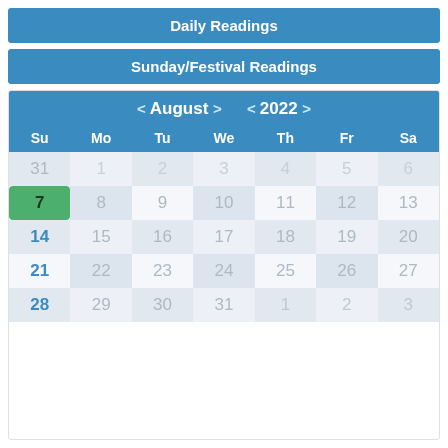Daily Readings
Sunday/Festival Readings
| Su | Mo | Tu | We | Th | Fr | Sa |
| --- | --- | --- | --- | --- | --- | --- |
| 31 | 1 | 2 | 3 | 4 | 5 | 6 |
| 7 | 8 | 9 | 10 | 11 | 12 | 13 |
| 14 | 15 | 16 | 17 | 18 | 19 | 20 |
| 21 | 22 | 23 | 24 | 25 | 26 | 27 |
| 28 | 29 | 30 | 31 | 1 | 2 | 3 |